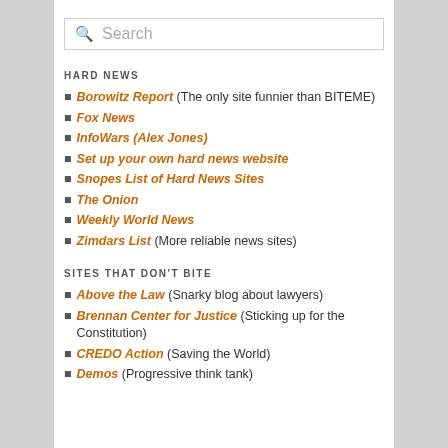HARD NEWS
Borowitz Report (The only site funnier than BITEME)
Fox News
InfoWars (Alex Jones)
Set up your own hard news website
Snopes List of Hard News Sites
The Onion
Weekly World News
Zimdars List (More reliable news sites)
SITES THAT DON'T BITE
Above the Law (Snarky blog about lawyers)
Brennan Center for Justice (Sticking up for the Constitution)
CREDO Action (Saving the World)
Demos (Progressive think tank)